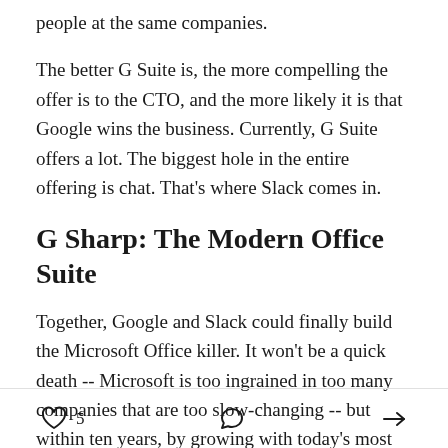people at the same companies.
The better G Suite is, the more compelling the offer is to the CTO, and the more likely it is that Google wins the business. Currently, G Suite offers a lot. The biggest hole in the entire offering is chat. That’s where Slack comes in.
G Sharp: The Modern Office Suite
Together, Google and Slack could finally build the Microsoft Office killer. It won’t be a quick death -- Microsoft is too ingrained in too many companies that are too slow-changing -- but within ten years, by growing with today’s most innovative companies, G
5